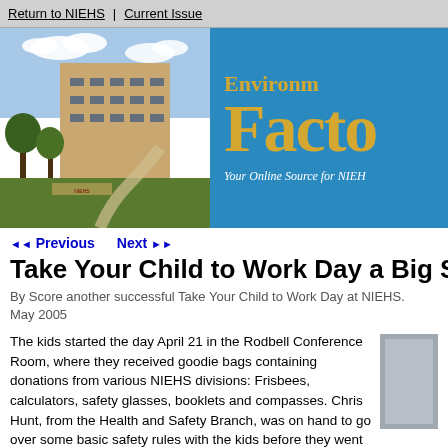Return to NIEHS | Current Issue
[Figure (photo): NIEHS building exterior photo on left; blue banner with 'Environmental Factor' title and subtitle 'Your Online Source for NIEHS' on right]
◄◄ Previous   Next ►►
Take Your Child to Work Day a Big Su
By Score another successful Take Your Child to Work Day at NIEHS.
May 2005
The kids started the day April 21 in the Rodbell Conference Room, where they received goodie bags containing donations from various NIEHS divisions: Frisbees, calculators, safety glasses, booklets and compasses. Chris Hunt, from the Health and Safety Branch, was on hand to go over some basic safety rules with the kids before they went off to their first activity.
With it all underfoot for the moment NIEHS staff members to